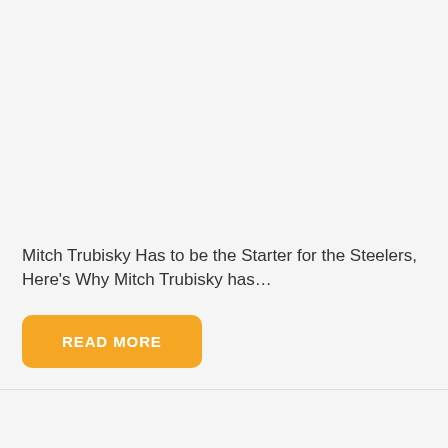Mitch Trubisky Has to be the Starter for the Steelers, Here’s Why Mitch Trubisky has…
READ MORE